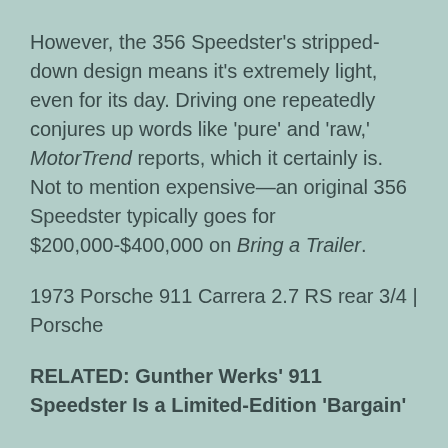However, the 356 Speedster's stripped-down design means it's extremely light, even for its day. Driving one repeatedly conjures up words like 'pure' and 'raw,' MotorTrend reports, which it certainly is. Not to mention expensive—an original 356 Speedster typically goes for $200,000-$400,000 on Bring a Trailer.
1973 Porsche 911 Carrera 2.7 RS rear 3/4 | Porsche
RELATED: Gunther Werks' 911 Speedster Is a Limited-Edition 'Bargain'